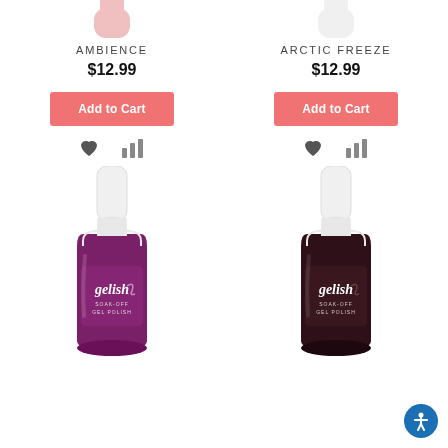[Figure (photo): Gelish nail polish bottle - Ambience (purple), partially cropped at top]
AMBIENCE
$12.99
Add to Cart
[Figure (photo): Gelish nail polish bottle - Arctic Freeze (dark brown), partially cropped at top]
ARCTIC FREEZE
$12.99
Add to Cart
[Figure (photo): Gelish Soak-Off Gel Polish bottle in purple/plum color]
[Figure (photo): Gelish Soak-Off Gel Polish bottle in dark brown/espresso color]